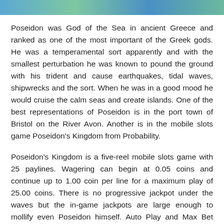[Figure (photo): Colorful image strip at the top of the page showing ocean/nature scene with blue and green tones]
Poseidon was God of the Sea in ancient Greece and ranked as one of the most important of the Greek gods. He was a temperamental sort apparently and with the smallest perturbation he was known to pound the ground with his trident and cause earthquakes, tidal waves, shipwrecks and the sort. When he was in a good mood he would cruise the calm seas and create islands. One of the best representations of Poseidon is in the port town of Bristol on the River Avon. Another is in the mobile slots game Poseidon's Kingdom from Probability.
Poseidon's Kingdom is a five-reel mobile slots game with 25 paylines. Wagering can begin at 0.05 coins and continue up to 1.00 coin per line for a maximum play of 25.00 coins. There is no progressive jackpot under the waves but the in-game jackpots are large enough to mollify even Poseidon himself. Auto Play and Max Bet options are available to tap.
THEME